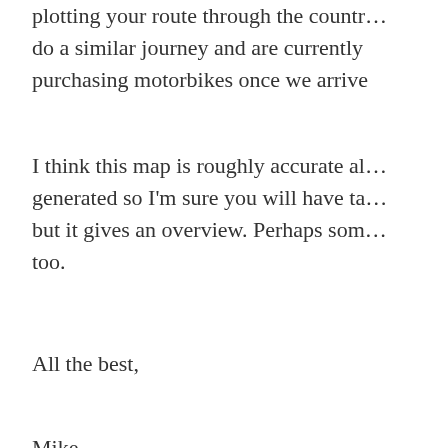plotting your route through the country, do a similar journey and are currently purchasing motorbikes once we arrive
I think this map is roughly accurate although generated so I'm sure you will have to adjust but it gives an overview. Perhaps som… too.
All the best,
Mike
https://www.google.com/maps/d/edit?mid=zehSB4WaScZo.k_I0HXiQadeM
Reply
admin says: March 24, 2015 at 5:01 am